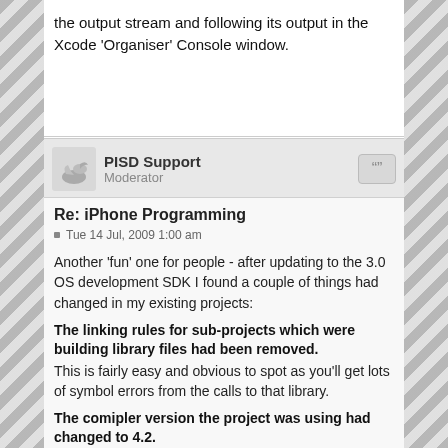the output stream and following its output in the Xcode 'Organiser' Console window.
PISD Support
Moderator
Re: iPhone Programming
Tue 14 Jul, 2009 1:00 am
Another 'fun' one for people - after updating to the 3.0 OS development SDK I found a couple of things had changed in my existing projects:
The linking rules for sub-projects which were building library files had been removed.
This is fairly easy and obvious to spot as you'll get lots of symbol errors from the calls to that library.
The comipler version the project was using had changed to 4.2.
4.2 is incredibly pedantic about compilations and you'll probably find you've 100's of new and (cough) interesting warnings to spend time fixing.